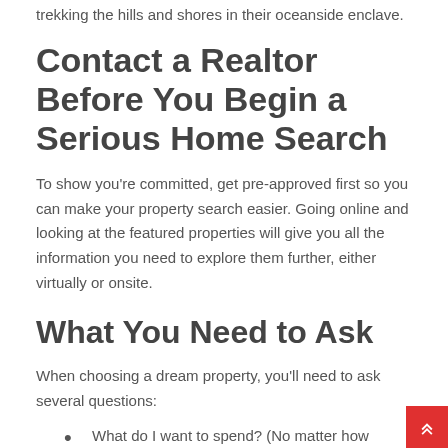trekking the hills and shores in their oceanside enclave.
Contact a Realtor Before You Begin a Serious Home Search
To show you're committed, get pre-approved first so you can make your property search easier. Going online and looking at the featured properties will give you all the information you need to explore them further, either virtually or onsite.
What You Need to Ask
When choosing a dream property, you'll need to ask several questions:
What do I want to spend? (No matter how fabulous the property, leave room for expenses for upkeep a…